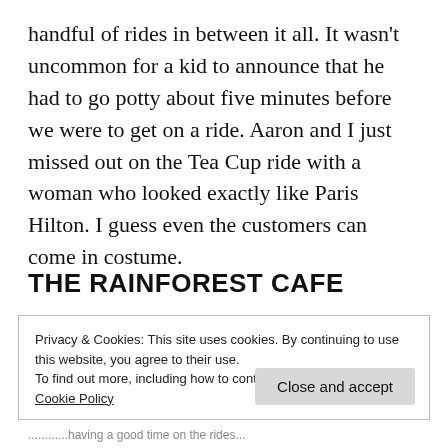handful of rides in between it all. It wasn't uncommon for a kid to announce that he had to go potty about five minutes before we were to get on a ride. Aaron and I just missed out on the Tea Cup ride with a woman who looked exactly like Paris Hilton. I guess even the customers can come in costume.
THE RAINFOREST CAFE
Privacy & Cookies: This site uses cookies. By continuing to use this website, you agree to their use.
To find out more, including how to control cookies, see here: Cookie Policy
Close and accept
...description of having a good time on the rides...